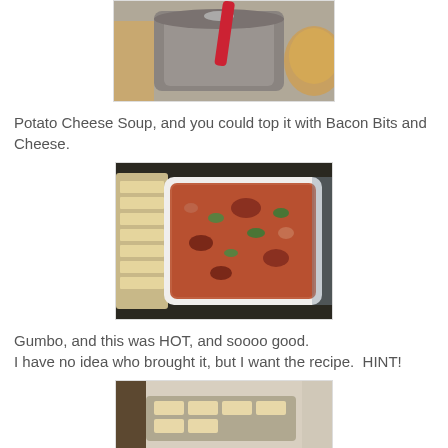[Figure (photo): Top portion of a photo showing a gray pot with a red spatula on a stove, partially cropped at top]
Potato Cheese Soup, and you could top it with Bacon Bits and Cheese.
[Figure (photo): A white casserole dish filled with gumbo showing meat, okra and vegetables, next to a tray of crackers or bread on a dark granite countertop]
Gumbo, and this was HOT, and soooo good.
I have no idea who brought it, but I want the recipe.  HINT!
[Figure (photo): Bottom portion of a photo showing a tray of bread or crackers on a table, partially cropped]